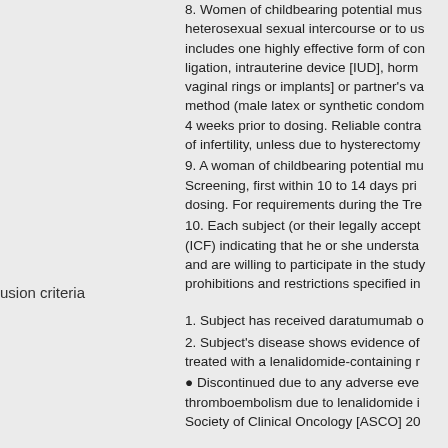8. Women of childbearing potential must heterosexual sexual intercourse or to use includes one highly effective form of cont ligation, intrauterine device [IUD], hormo vaginal rings or implants] or partner's vas method (male latex or synthetic condom, 4 weeks prior to dosing. Reliable contrac of infertility, unless due to hysterectomy o
9. A woman of childbearing potential mus Screening, first within 10 to 14 days prio dosing. For requirements during the Trea
10. Each subject (or their legally accepta (ICF) indicating that he or she understan and are willing to participate in the study. prohibitions and restrictions specified in t
usion criteria
1. Subject has received daratumumab or
2. Subject's disease shows evidence of r treated with a lenalidomide-containing re
• Discontinued due to any adverse even thromboembolism due to lenalidomide is Society of Clinical Oncology [ASCO] 20